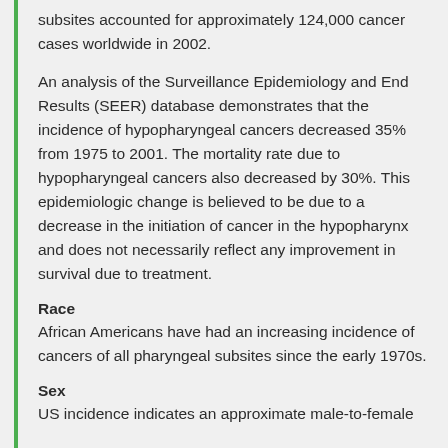subsites accounted for approximately 124,000 cancer cases worldwide in 2002.
An analysis of the Surveillance Epidemiology and End Results (SEER) database demonstrates that the incidence of hypopharyngeal cancers decreased 35% from 1975 to 2001. The mortality rate due to hypopharyngeal cancers also decreased by 30%. This epidemiologic change is believed to be due to a decrease in the initiation of cancer in the hypopharynx and does not necessarily reflect any improvement in survival due to treatment.
Race
African Americans have had an increasing incidence of cancers of all pharyngeal subsites since the early 1970s.
Sex
US incidence indicates an approximate male-to-female